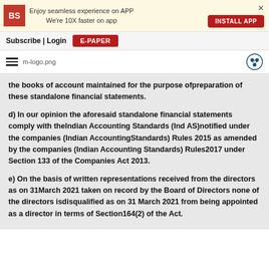Enjoy seamless experience on APP We're 10X faster on app INSTALL APP
Subscribe | Login E-PAPER
m-logo.png
the books of account maintained for the purpose ofpreparation of these standalone financial statements.
d) In our opinion the aforesaid standalone financial statements comply with theIndian Accounting Standards (Ind AS)notified under the companies (Indian AccountingStandards) Rules 2015 as amended by the companies (Indian Accounting Standards) Rules2017 under Section 133 of the Companies Act 2013.
e) On the basis of written representations received from the directors as on 31March 2021 taken on record by the Board of Directors none of the directors isdisqualified as on 31 March 2021 from being appointed as a director in terms of Section164(2) of the Act.